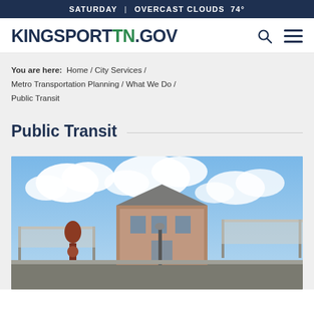SATURDAY | OVERCAST CLOUDS 74°
KINGSPORTTN.GOV
You are here: Home / City Services / Metro Transportation Planning / What We Do / Public Transit
Public Transit
[Figure (photo): Outdoor photo of a public transit station with canopies, a brick building, a decorative sculpture, and a cloudy blue sky.]